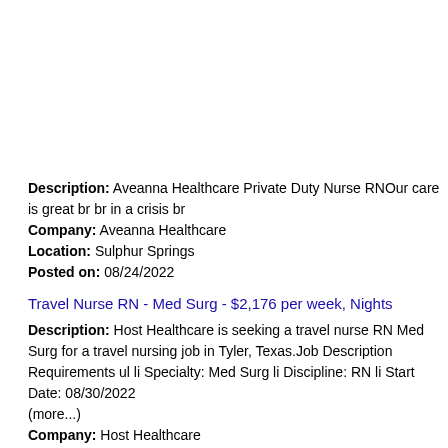Description: Aveanna Healthcare Private Duty Nurse RNOur care is great br br in a crisis br
Company: Aveanna Healthcare
Location: Sulphur Springs
Posted on: 08/24/2022
Travel Nurse RN - Med Surg - $2,176 per week, Nights
Description: Host Healthcare is seeking a travel nurse RN Med Surg for a travel nursing job in Tyler, Texas.Job Description Requirements ul li Specialty: Med Surg li Discipline: RN li Start Date: 08/30/2022 (more...)
Company: Host Healthcare
Location: Tyler
Posted on: 08/24/2022
Salary in Tyler, Texas Area | More details for Tyler, Texas Jobs |Salary